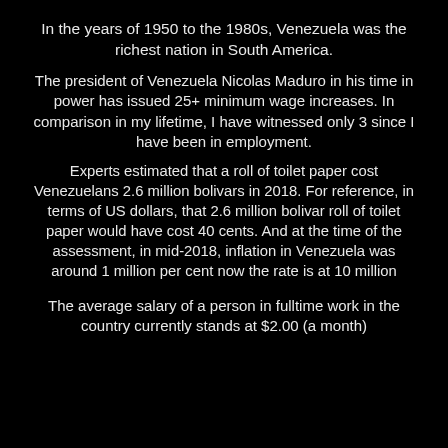In the years of 1950 to the 1980s, Venezuela was the richest nation in South America.
The president of Venezuela Nicolas Maduro in his time in power has issued 25+ minimum wage increases. In comparison in my lifetime, I have witnessed only 3 since I have been in employment.
Experts estimated that a roll of toilet paper cost Venezuelans 2.6 million bolivars in 2018. For reference, in terms of US dollars, that 2.6 million bolivar roll of toilet paper would have cost 40 cents. And at the time of the assessment, in mid-2018, inflation in Venezuela was around 1 million per cent now the rate is at 10 million
The average salary of a person in fulltime work in the country currently stands at $2.00 (a month)